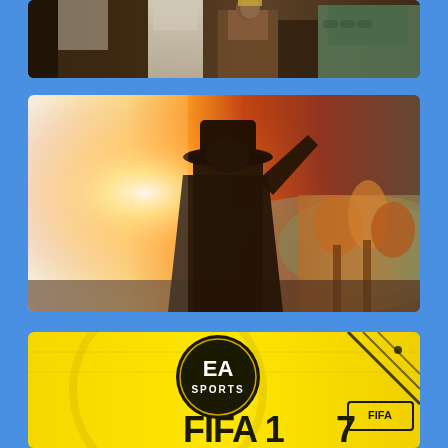[Figure (illustration): Top portion of a medieval fantasy game scene showing a group of armored characters including a figure in white robes and soldiers in armor]
[Figure (illustration): A western/cowboy game scene showing a silhouetted figure with hat against a bright golden sunrise with autumn trees in background, resembling Red Dead Redemption 2 artwork]
[Figure (illustration): FIFA 17 EA Sports game cover showing the EA Sports logo circle on a bright yellow background with the FIFA 17 title text at the bottom]